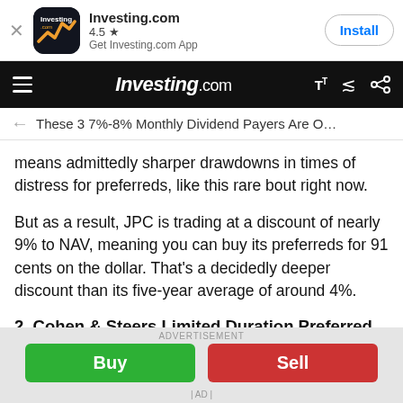Investing.com | 4.5 ★ | Get Investing.com App | Install
Investing.com navigation bar
← These 3 7%-8% Monthly Dividend Payers Are O…
means admittedly sharper drawdowns in times of distress for preferreds, like this rare bout right now.
But as a result, JPC is trading at a discount of nearly 9% to NAV, meaning you can buy its preferreds for 91 cents on the dollar. That's a decidedly deeper discount than its five-year average of around 4%.
2. Cohen & Steers Limited Duration Preferred and Income Fund - Yield: 7.5%
ADVERTISEMENT | Buy | Sell | AD